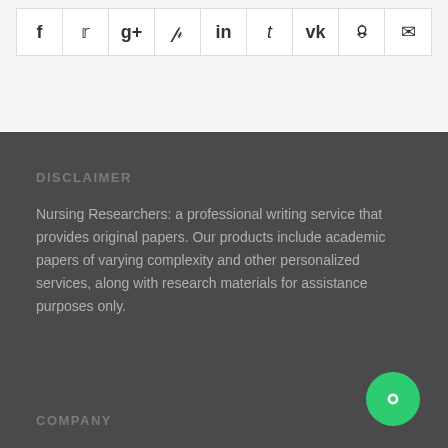[Figure (other): Social media sharing icons row: Facebook, Twitter, Google+, Pinterest, LinkedIn, Tumblr, VK, Reddit, Email]
DISCLAIMER
Nursing Researchers: a professional writing service that provides original papers. Our products include academic papers of varying complexity and other personalized services, along with research materials for assistance purposes only.
COMPANY